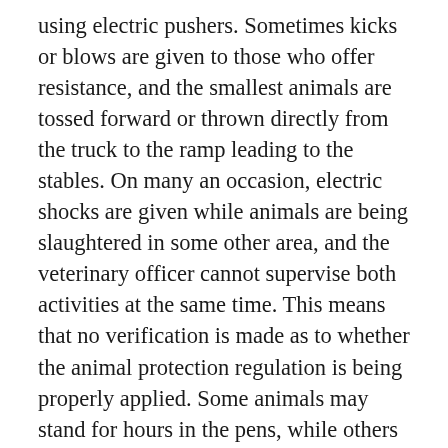using electric pushers. Sometimes kicks or blows are given to those who offer resistance, and the smallest animals are tossed forward or thrown directly from the truck to the ramp leading to the stables. On many an occasion, electric shocks are given while animals are being slaughtered in some other area, and the veterinary officer cannot supervise both activities at the same time. This means that no verification is made as to whether the animal protection regulation is being properly applied. Some animals may stand for hours in the pens, while others are guided to the slaughter area right away.
In one of the slaughterhouses, a farmer unloaded two lambs from his car's boot. They were very frightened when they arrived, and their legs were tied. Breaching the current regulation and in the presence of a veterinarian, they were carried to the stables by their legs alongside...